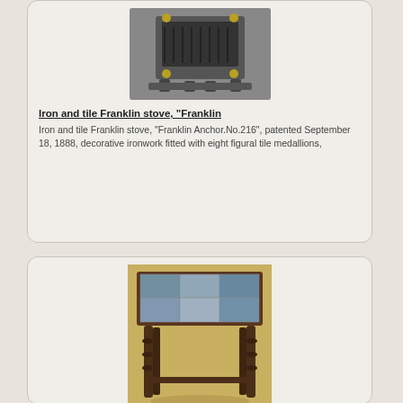[Figure (photo): Iron and tile Franklin stove, decorative ironwork with figural tile medallions, photographed from the front]
Iron and tile Franklin stove, "Franklin
Iron and tile Franklin stove, "Franklin Anchor.No.216", patented September 18, 1888, decorative ironwork fitted with eight figural tile medallions,
[Figure (photo): A Taylor art tile oak table with colorful ceramic tile top on a dark wood base with turned legs and cross stretchers]
A Taylor art tile oak table, Golden Gate
A Taylor art tile oak table, Golden Gate Bridge. A Taylor art tile oak table, Golden Gate Bridge , Second quarter 20th century, the six panel ceramic tile